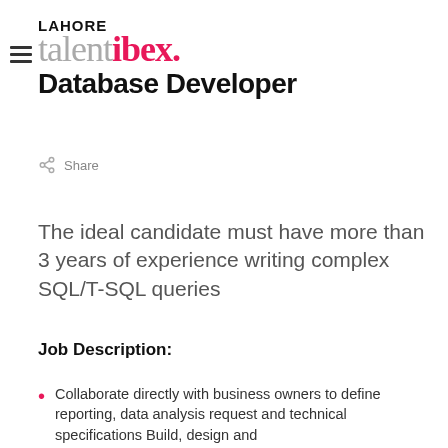LAHORE talent ibex. Database Developer
Share
The ideal candidate must have more than 3 years of experience writing complex SQL/T-SQL queries
Job Description:
Collaborate directly with business owners to define reporting, data analysis request and technical specifications Build, design and